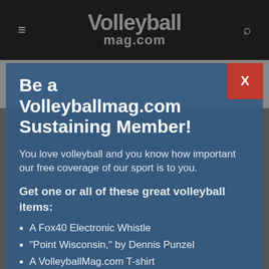Volleyballmag.com
Be a Volleyballmag.com Sustaining Member!
You love volleyball and you know how important our free coverage of our sport is to you.
Get one or all of these great volleyball items:
A Fox40 Electronic Whistle
"Point Wisconsin," by Dennis Punzel
A VolleyballMag.com T-shirt
A free trial to Art of Coaching